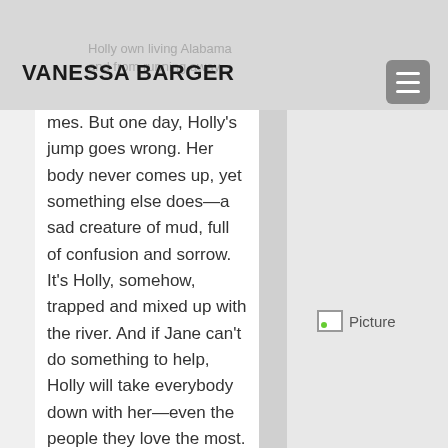VANESSA BARGER
mes. But one day, Holly's jump goes wrong. Her body never comes up, yet something else does—a sad creature of mud, full of confusion and sorrow. It's Holly, somehow, trapped and mixed up with the river. And if Jane can't do something to help, Holly will take everybody down with her—even the people they love the most.
[Figure (photo): Placeholder image in the right column of the page]